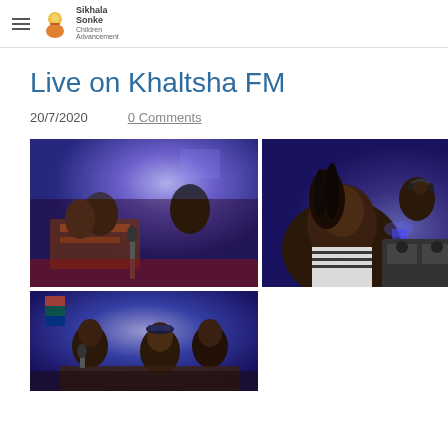Sikhala Sonke Children Advancement
Live on Khaltsha FM
20/7/2020    0 Comments
[Figure (photo): People seated at a radio studio desk with microphones and equipment, blue lighting in background]
[Figure (photo): Woman in striped top smiling at camera in foreground, man with headphones at DJ/mixing desk behind her, blue lighting]
[Figure (photo): Radio studio scene with people seated, South African flag visible, blue lighting]